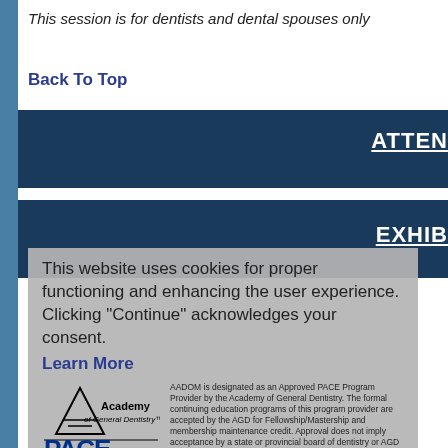This session is for dentists and dental spouses only
Back To Top
ATTEN
EXHIB
This website uses cookies for proper functioning and enhancing the user experience. Clicking "Continue" acknowledges your consent.
Learn More
Academy of General Dentistry™
PACE Program Approval for Continuing Education
AADOM is designated as an Approved PACE Program Provider by the Academy of General Dentistry. The formal continuing education programs of this program provider are accepted by the AGD for Fellowship/Mastership and membership maintenance credit. Approval does not imply acceptance by a state or provincial board of dentistry or AGD endorsement. The current term of approval extends from 3/1/2015 to 2/28/2017. Provider ID#363333.